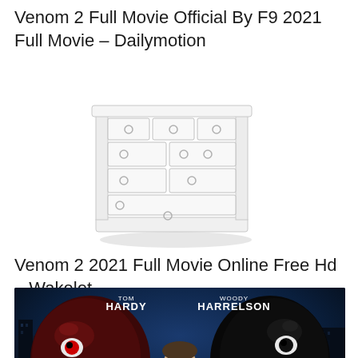Venom 2 Full Movie Official By F9 2021 Full Movie – Dailymotion
[Figure (illustration): A white dresser/chest of drawers with multiple drawer handles, shown in a light gray sketch-like illustration]
Venom 2 2021 Full Movie Online Free Hd – Wakelet
[Figure (photo): Movie poster for Venom 2 (Let There Be Carnage) showing Tom Hardy and Woody Harrelson, with two large black alien creature (Venom and Carnage) figures flanking a human figure in the center, dark blue background with city buildings]